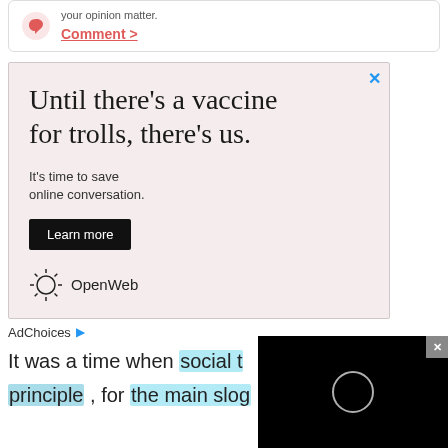your opinion matter. Comment >
[Figure (screenshot): Advertisement with pink/rose background. Large serif headline: 'Until there's a vaccine for trolls, there's us.' Subtext: 'It's time to save online conversation.' Black 'Learn more' button. OpenWeb logo at bottom. X close button top right.]
AdChoices ▷
It was a time when social t
principle , for  the main slog